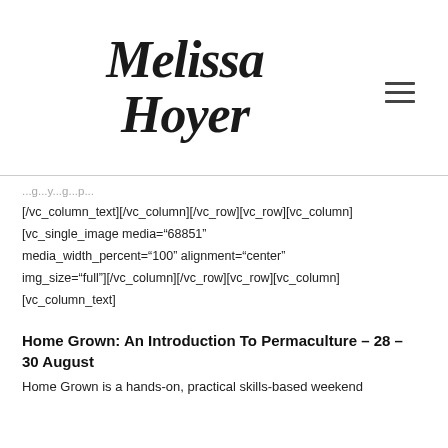Melissa Hoyer
[/vc_column_text][/vc_column][/vc_row][vc_row][vc_column][vc_single_image media="68851" media_width_percent="100" alignment="center" img_size="full"][/vc_column][/vc_row][vc_row][vc_column][vc_column_text]
Home Grown: An Introduction To Permaculture – 28 – 30 August
Home Grown is a hands-on, practical skills-based weekend